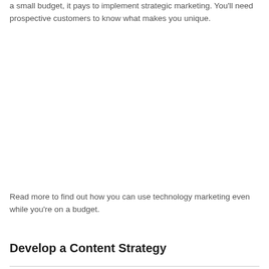a small budget, it pays to implement strategic marketing. You'll need prospective customers to know what makes you unique.
Read more to find out how you can use technology marketing even while you're on a budget.
Develop a Content Strategy